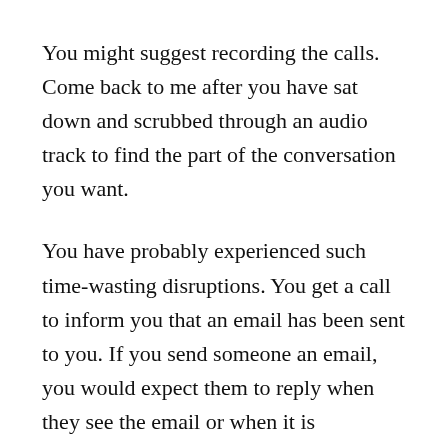You might suggest recording the calls. Come back to me after you have sat down and scrubbed through an audio track to find the part of the conversation you want.
You have probably experienced such time-wasting disruptions. You get a call to inform you that an email has been sent to you. If you send someone an email, you would expect them to reply when they see the email or when it is convenient. Or someone has a discussion with you over the phone and then asks you to send an email of what you just discussed. If you wanted an email in the first place, why not just say so in the first place instead of spending the time talking about something that would need to be sent via email anyway.